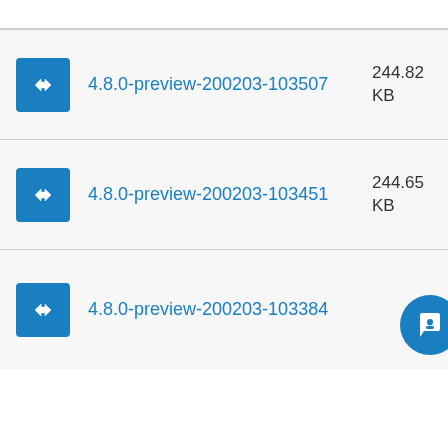4.8.0-preview-200203-103507 244.82 KB
4.8.0-preview-200203-103451 244.65 KB
4.8.0-preview-200203-103384